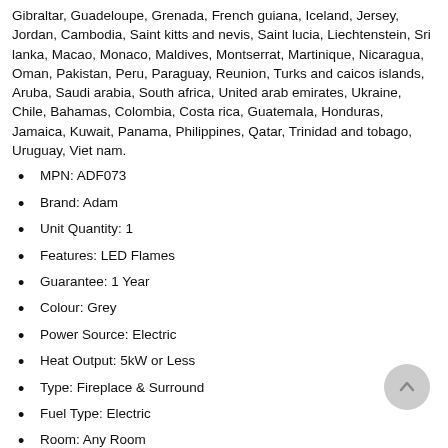Gibraltar, Guadeloupe, Grenada, French guiana, Iceland, Jersey, Jordan, Cambodia, Saint kitts and nevis, Saint lucia, Liechtenstein, Sri lanka, Macao, Monaco, Maldives, Montserrat, Martinique, Nicaragua, Oman, Pakistan, Peru, Paraguay, Reunion, Turks and caicos islands, Aruba, Saudi arabia, South africa, United arab emirates, Ukraine, Chile, Bahamas, Colombia, Costa rica, Guatemala, Honduras, Jamaica, Kuwait, Panama, Philippines, Qatar, Trinidad and tobago, Uruguay, Viet nam.
MPN: ADF073
Brand: Adam
Unit Quantity: 1
Features: LED Flames
Guarantee: 1 Year
Colour: Grey
Power Source: Electric
Heat Output: 5kW or Less
Type: Fireplace & Surround
Fuel Type: Electric
Room: Any Room
Item Height: 54 cm
Item Width: 63 cm
Mounting: Freestanding